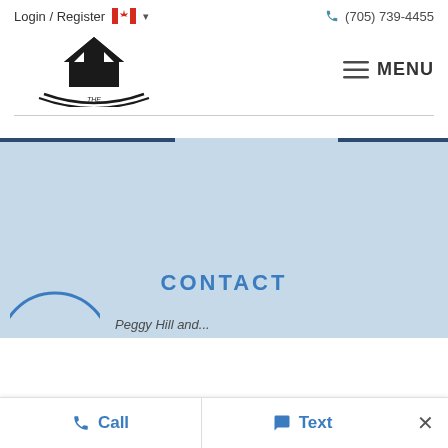Login / Register  (705) 739-4455
[Figure (logo): The Peggy Hill Team logo with house icon and tagline: REAL PEOPLE. REAL SERVICE. REAL RESULTS.]
CONTACT
Call  Text